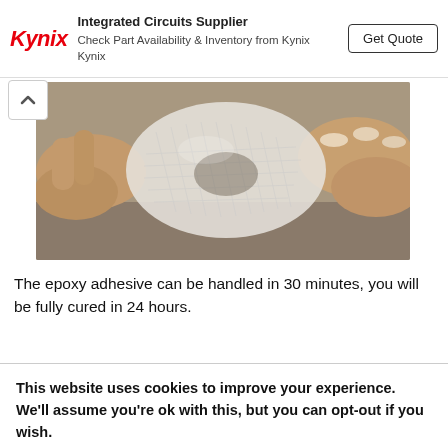Kynix – Integrated Circuits Supplier. Check Part Availability & Inventory from Kynix Kynix. Get Quote
[Figure (photo): Hands applying or peeling translucent epoxy/tape material from a surface, showing mesh-like texture of the adhesive material]
The epoxy adhesive can be handled in 30 minutes, you will be fully cured in 24 hours.
This website uses cookies to improve your experience. We'll assume you're ok with this, but you can opt-out if you wish. Cookie settings ACCEPT